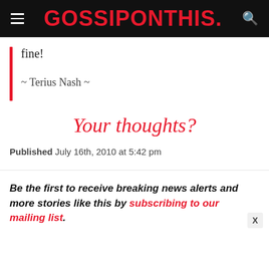GOSSIPONTHIS.
fine!
~ Terius Nash ~
Your thoughts?
Published July 16th, 2010 at 5:42 pm
Be the first to receive breaking news alerts and more stories like this by subscribing to our mailing list.